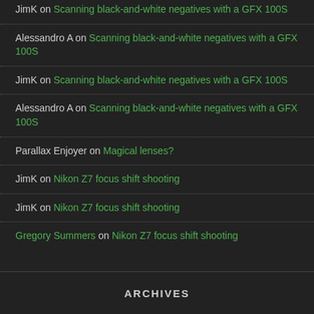JimK on Scanning black-and-white negatives with a GFX 100S
Alessandro A on Scanning black-and-white negatives with a GFX 100S
JimK on Scanning black-and-white negatives with a GFX 100S
Alessandro A on Scanning black-and-white negatives with a GFX 100S
Parallax Enjoyer on Magical lenses?
JimK on Nikon Z7 focus shift shooting
JimK on Nikon Z7 focus shift shooting
Gregory Summers on Nikon Z7 focus shift shooting
ARCHIVES